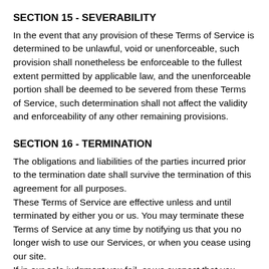SECTION 15 - SEVERABILITY
In the event that any provision of these Terms of Service is determined to be unlawful, void or unenforceable, such provision shall nonetheless be enforceable to the fullest extent permitted by applicable law, and the unenforceable portion shall be deemed to be severed from these Terms of Service, such determination shall not affect the validity and enforceability of any other remaining provisions.
SECTION 16 - TERMINATION
The obligations and liabilities of the parties incurred prior to the termination date shall survive the termination of this agreement for all purposes.
These Terms of Service are effective unless and until terminated by either you or us. You may terminate these Terms of Service at any time by notifying us that you no longer wish to use our Services, or when you cease using our site.
If in our sole judgment you fail, or we suspect that you have failed, to comply with any term or provision of these Terms of Service, we also may terminate this agreement at any time